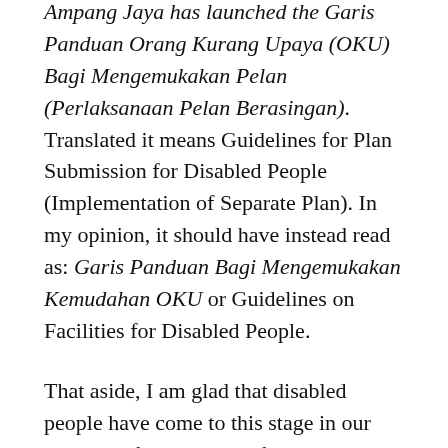Ampang Jaya has launched the Garis Panduan Orang Kurang Upaya (OKU) Bagi Mengemukakan Pelan (Perlaksanaan Pelan Berasingan). Translated it means Guidelines for Plan Submission for Disabled People (Implementation of Separate Plan). In my opinion, it should have instead read as: Garis Panduan Bagi Mengemukakan Kemudahan OKU or Guidelines on Facilities for Disabled People.
That aside, I am glad that disabled people have come to this stage in our advocacy for accessible facilities in the Ampang Jaya municipality. This is a very positive step for many of us who have been looking forward to such facilities. The guidelines have a checklist and specifications on ramps, pathways and